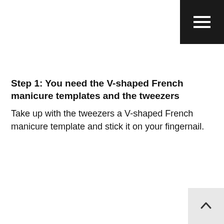[Figure (other): Hamburger menu icon (three horizontal white lines) on a dark/black square background, positioned in the top-right corner]
Step 1: You need the V-shaped French manicure templates and the tweezers
Take up with the tweezers a V-shaped French manicure template and stick it on your fingernail.
[Figure (other): Back-to-top arrow icon (upward chevron/caret) on a light grey square background, positioned in the bottom-right corner]